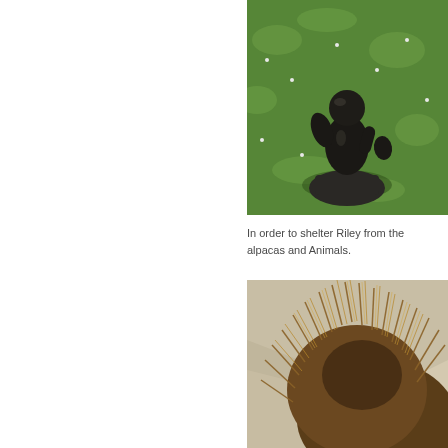[Figure (photo): A dark bronze sculpture of an abstract human-like figure seated on a rock, photographed outdoors on a green lawn with small white flowers.]
In order to shelter Riley from the alpacas and Animals.
[Figure (photo): Close-up photograph of the back of an animal's head, showing thick, spiky brown-golden fur or quills, taken against a light beige background.]